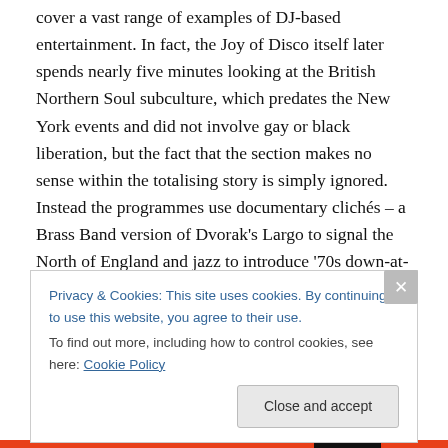cover a vast range of examples of DJ-based entertainment. In fact, the Joy of Disco itself later spends nearly five minutes looking at the British Northern Soul subculture, which predates the New York events and did not involve gay or black liberation, but the fact that the section makes no sense within the totalising story is simply ignored. Instead the programmes use documentary clichés – a Brass Band version of Dvorak's Largo to signal the North of England and jazz to introduce '70s down-at-heel New York – to engage us in the narrative, even
Privacy & Cookies: This site uses cookies. By continuing to use this website, you agree to their use.
To find out more, including how to control cookies, see here: Cookie Policy